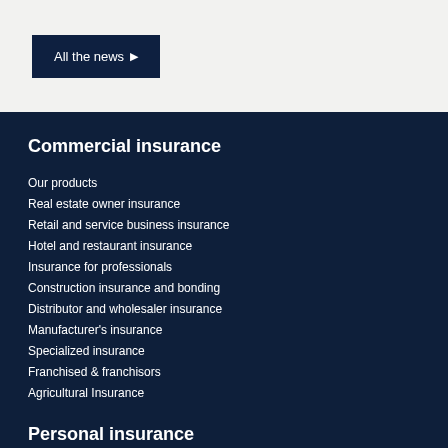All the news ▶
Commercial insurance
Our products
Real estate owner insurance
Retail and service business insurance
Hotel and restaurant insurance
Insurance for professionals
Construction insurance and bonding
Distributor and wholesaler insurance
Manufacturer's insurance
Specialized insurance
Franchised & franchisors
Agricultural Insurance
Personal insurance